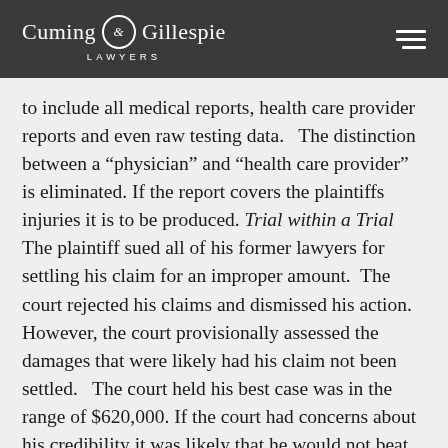Cuming & Gillespie LAWYERS
to include all medical reports, health care provider reports and even raw testing data.   The distinction between a “physician” and “health care provider” is eliminated. If the report covers the plaintiffs injuries it is to be produced. Trial within a Trial The plaintiff sued all of his former lawyers for settling his claim for an improper amount.  The court rejected his claims and dismissed his action.  However, the court provisionally assessed the damages that were likely had his claim not been settled.   The court held his best case was in the range of $620,000. If the court had concerns about his credibility it was likely that he would not beat the first Formal offer of $275,000.  The plaintiff complained of chronic pain, mild head injury, mild hearing loss, TMJ injury, right shoulder